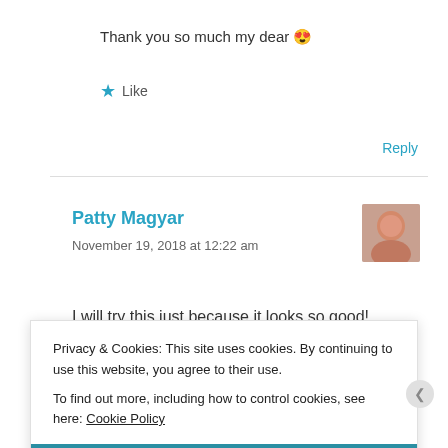Thank you so much my dear 😍
★ Like
Reply
Patty Magyar
November 19, 2018 at 12:22 am
I will try this just because it looks so good!
Privacy & Cookies: This site uses cookies. By continuing to use this website, you agree to their use.
To find out more, including how to control cookies, see here: Cookie Policy
Close and accept